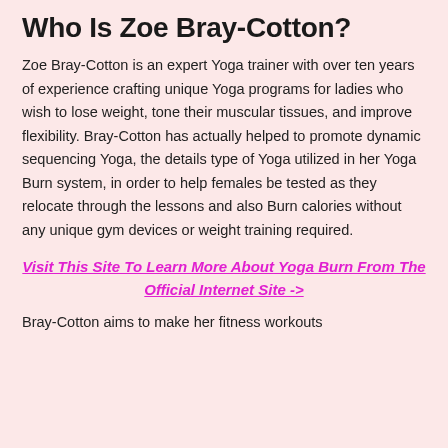Who Is Zoe Bray-Cotton?
Zoe Bray-Cotton is an expert Yoga trainer with over ten years of experience crafting unique Yoga programs for ladies who wish to lose weight, tone their muscular tissues, and improve flexibility. Bray-Cotton has actually helped to promote dynamic sequencing Yoga, the details type of Yoga utilized in her Yoga Burn system, in order to help females be tested as they relocate through the lessons and also Burn calories without any unique gym devices or weight training required.
Visit This Site To Learn More About Yoga Burn From The Official Internet Site ->
Bray-Cotton aims to make her fitness workouts